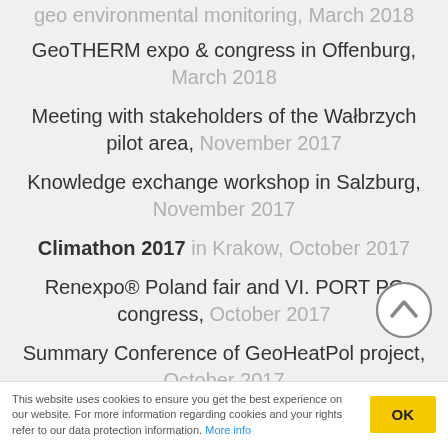geo environmental monitoring, March 2018 (clipped top)
GeoTHERM expo & congress in Offenburg, March 2018
Meeting with stakeholders of the Wałbrzych pilot area, November 2017
Knowledge exchange workshop in Salzburg, November 2017
Climathon 2017 in Krakow, October 2017
Renexpo® Poland fair and VI. PORT PC congress, October 2017
Summary Conference of GeoHeatPol project, October 2017
Networking of Geothermal4PL and (clipped)
This website uses cookies to ensure you get the best experience on our website. For more information regarding cookies and your rights refer to our data protection information. More info